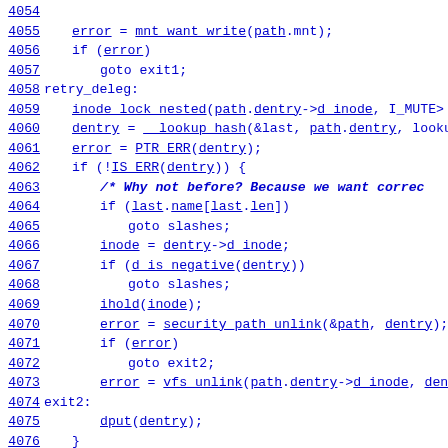[Figure (screenshot): Source code listing showing Linux kernel C code lines 4054-4078, with line numbers as blue hyperlinks and code identifiers as blue underlined hyperlinks. Code shows file unlink operation logic including mnt_want_write, inode_lock_nested, __lookup_hash, PTR_ERR, IS_ERR checks, path traversal, security_path_unlink, vfs_unlink calls, and related goto/label constructs.]